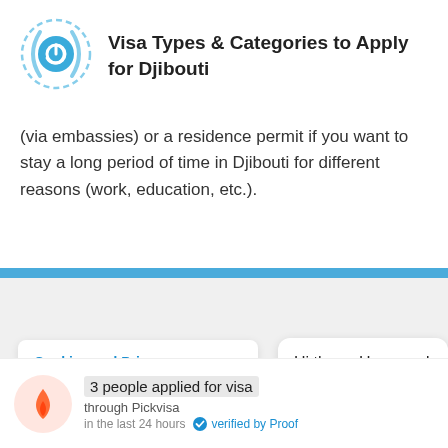Visa Types & Categories to Apply for Djibouti
(via embassies) or a residence permit if you want to stay a long period of time in Djibouti for different reasons (work, education, etc.).
Cookies and Privacy
We use cookies to offer you a b...
serve targeted advertisements. By continuing to use this website, you
Hi there. How can I help you today?
3 people applied for visa
through Pickvisa
in the last 24 hours · verified by Proof